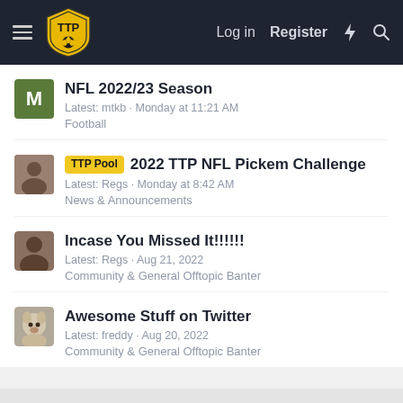TTP Forum — Log in | Register
NFL 2022/23 Season — Latest: mtkb · Monday at 11:21 AM — Football
TTP Pool — 2022 TTP NFL Pickem Challenge — Latest: Regs · Monday at 8:42 AM — News & Announcements
Incase You Missed It!!!!!! — Latest: Regs · Aug 21, 2022 — Community & General Offtopic Banter
Awesome Stuff on Twitter — Latest: freddy · Aug 20, 2022 — Community & General Offtopic Banter